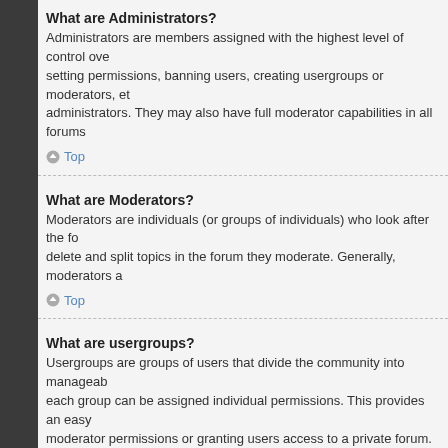What are Administrators?
Administrators are members assigned with the highest level of control over the entire board. These members can control all facets of board operation, including setting permissions, banning users, creating usergroups or moderators, etc., dependent upon the board founder and what permissions he or she has given the other administrators. They may also have full moderator capabilities in all forums, depending on the settings put forth by the board founder.
Top
What are Moderators?
Moderators are individuals (or groups of individuals) who look after the forums from day to day. They have the authority to edit or delete posts and lock, unlock, move, delete and split topics in the forum they moderate. Generally, moderators are present to prevent users from going off-topic or posting abusive or offensive material.
Top
What are usergroups?
Usergroups are groups of users that divide the community into manageable sections board administrators can work with. Each user can belong to several groups and each group can be assigned individual permissions. This provides an easy way for administrators to change permissions for many users at once, such as changing moderator permissions or granting users access to a private forum.
Top
Where are the usergroups and how do I join one?
You can view all usergroups via the “Usergroups” link within your User Control Panel. If you would like to join one, proceed by clicking the appropriate button. Not all groups have open access, however. Some may require approval to join, some may be closed and some may even have hidden memberships. If the group is open, you can join it by clicking the appropriate button. If a group requires approval to join you may request to join by clicking the appropriate button. The user group leader will need to approve your request and may ask why you want to join the group. Please do not harass a group leader if they reject your request; they will have their reasons.
Top